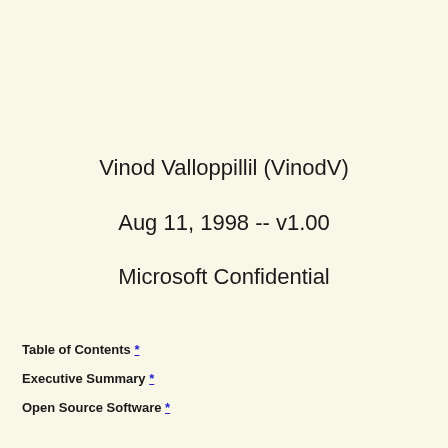Vinod Valloppillil (VinodV)
Aug 11, 1998 -- v1.00
Microsoft Confidential
Table of Contents *
Executive Summary *
Open Source Software *